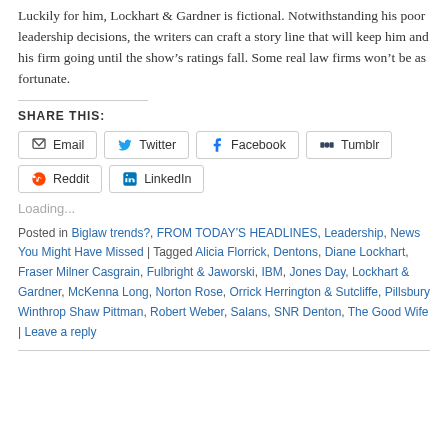Luckily for him, Lockhart & Gardner is fictional. Notwithstanding his poor leadership decisions, the writers can craft a story line that will keep him and his firm going until the show’s ratings fall. Some real law firms won’t be as fortunate.
SHARE THIS:
Email | Twitter | Facebook | Tumblr | Reddit | LinkedIn
Loading...
Posted in Biglaw trends?, FROM TODAY’S HEADLINES, Leadership, News You Might Have Missed | Tagged Alicia Florrick, Dentons, Diane Lockhart, Fraser Milner Casgrain, Fulbright & Jaworski, IBM, Jones Day, Lockhart & Gardner, McKenna Long, Norton Rose, Orrick Herrington & Sutcliffe, Pillsbury Winthrop Shaw Pittman, Robert Weber, Salans, SNR Denton, The Good Wife | Leave a reply